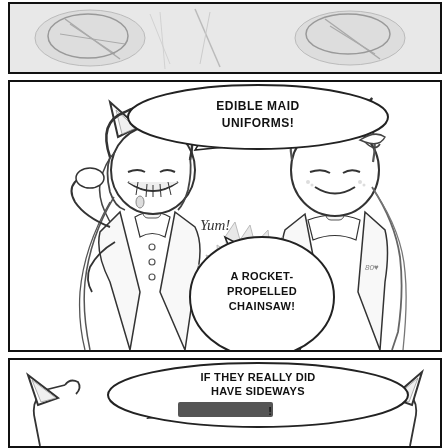[Figure (illustration): Top comic panel showing sketched anime-style characters or objects in grayscale, partially visible]
[Figure (illustration): Middle comic panel with two anime cat-girl characters. Left character smiles with eyes closed saying 'YUM!' Right character smiles. Speech bubble says 'EDIBLE MAID UNIFORMS!' and a round bubble says 'A ROCKET-PROPELLED CHAINSAW!']
[Figure (illustration): Bottom comic panel showing two anime cat-girl characters with a speech bubble saying 'IF THEY REALLY DID HAVE SIDEWAYS [CENSORED]!']